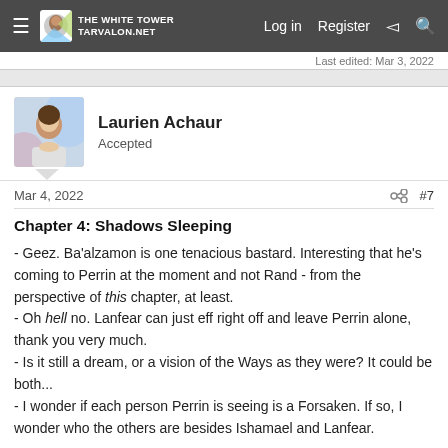≡ TARVALON.NET   Log in   Register
Last edited: Mar 3, 2022
Laurien Achaur
Accepted
Mar 4, 2022   #7
Chapter 4: Shadows Sleeping
- Geez. Ba'alzamon is one tenacious bastard. Interesting that he's coming to Perrin at the moment and not Rand - from the perspective of this chapter, at least.
- Oh hell no. Lanfear can just eff right off and leave Perrin alone, thank you very much.
- Is it still a dream, or a vision of the Ways as they were? It could be both...
- I wonder if each person Perrin is seeing is a Forsaken. If so, I wonder who the others are besides Ishamael and Lanfear.